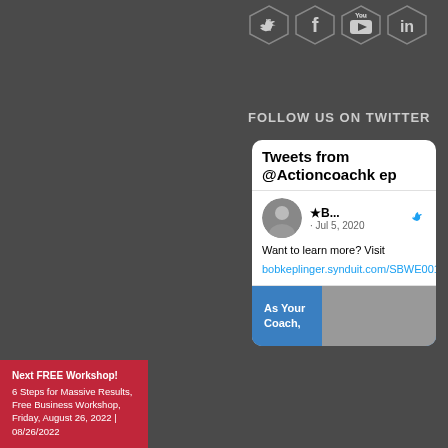[Figure (illustration): Row of social media icons: Twitter, Facebook, YouTube, LinkedIn on dark background]
FOLLOW US ON TWITTER
[Figure (screenshot): Twitter widget showing 'Tweets from @Actioncoachkep' with a tweet from Jul 5, 2020: 'Want to learn more? Visit bobkeplinger.synduit.com/SBWE0015' and a coaching image below]
Next FREE Workshop! 6 Steps for Massive Results, Free Business Workshop, Friday, August 26, 2022 | 08/26/2022